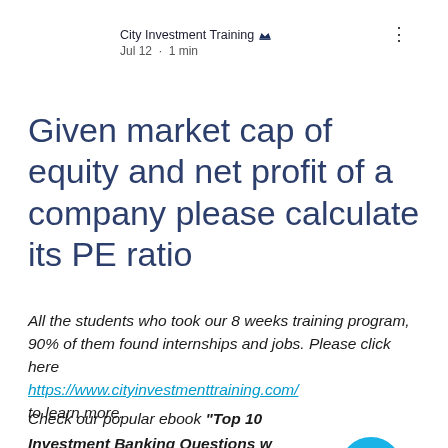City Investment Training 👑
Jul 12 · 1 min
Given market cap of equity and net profit of a company please calculate its PE ratio
All the students who took our 8 weeks training program, 90% of them found internships and jobs. Please click here https://www.cityinvestmenttraining.com/ to learn more.
Check our popular ebook "Top 100 Investment Banking Questions with Answers"